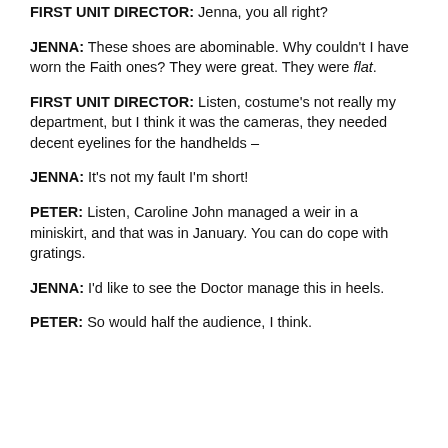FIRST UNIT DIRECTOR: Jenna, you all right?
JENNA: These shoes are abominable. Why couldn't I have worn the Faith ones? They were great. They were flat.
FIRST UNIT DIRECTOR: Listen, costume's not really my department, but I think it was the cameras, they needed decent eyelines for the handhelds –
JENNA: It's not my fault I'm short!
PETER: Listen, Caroline John managed a weir in a miniskirt, and that was in January. You can do cope with gratings.
JENNA: I'd like to see the Doctor manage this in heels.
PETER: So would half the audience, I think.